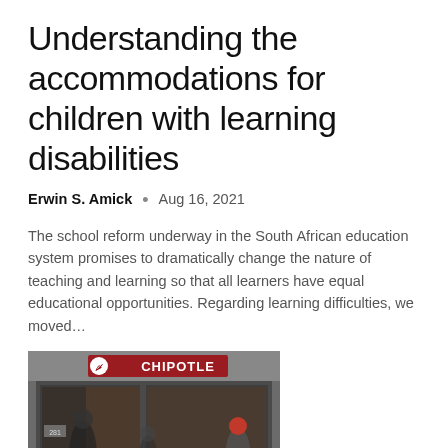Understanding the accommodations for children with learning disabilities
Erwin S. Amick  •  Aug 16, 2021
The school reform underway in the South African education system promises to dramatically change the nature of teaching and learning so that all learners have equal educational opportunities. Regarding learning difficulties, we moved…
[Figure (photo): Exterior of a Chipotle Mexican Grill restaurant storefront with people walking by]
Chipotle Mexican Grill may